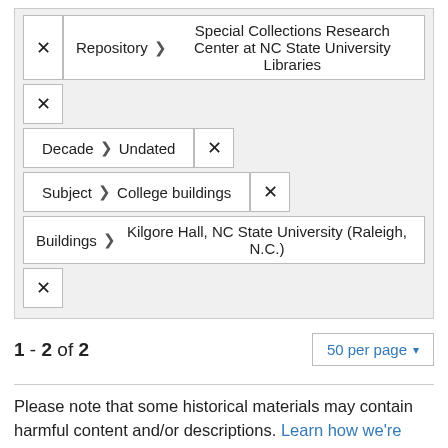× Repository ❯ Special Collections Research Center at NC State University Libraries
× Decade ❯ Undated ×
Subject ❯ College buildings ×
Buildings ❯ Kilgore Hall, NC State University (Raleigh, N.C.)
×
1 - 2 of 2   50 per page
Please note that some historical materials may contain harmful content and/or descriptions. Learn how we're